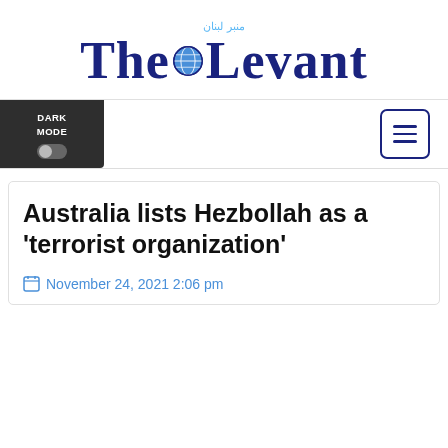[Figure (logo): The Levant newspaper logo with Arabic script above, globe icon in the middle, in dark navy blue and light blue colors]
[Figure (screenshot): Navigation bar with dark mode toggle button on the left and hamburger menu button on the right]
Australia lists Hezbollah as a 'terrorist organization'
November 24, 2021 2:06 pm